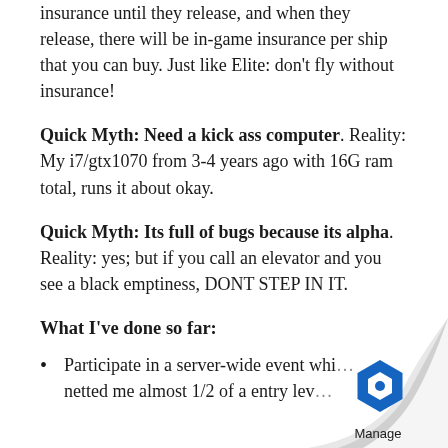insurance until they release, and when they release, there will be in-game insurance per ship that you can buy. Just like Elite: don't fly without insurance!
Quick Myth: Need a kick ass computer. Reality: My i7/gtx1070 from 3-4 years ago with 16G ram total, runs it about okay.
Quick Myth: Its full of bugs because its alpha. Reality: yes; but if you call an elevator and you see a black emptiness, DONT STEP IN IT.
What I've done so far:
Participate in a server-wide event whi... netted me almost 1/2 of a entry lev...
[Figure (logo): Page curl effect in bottom-right corner with a blue hexagonal Manage logo]